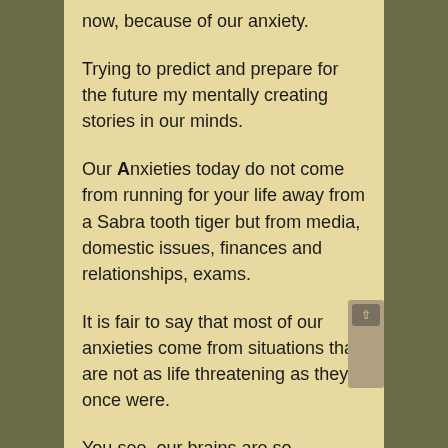now, because of our anxiety.
Trying to predict and prepare for the future my mentally creating stories in our minds.
Our Anxieties today do not come from running for your life away from a Sabra tooth tiger but from media, domestic issues, finances and relationships, exams.
It is fair to say that most of our anxieties come from situations that are not as life threatening as they once were.
You see, our brains are so sensitive to a threat that we only have to think about something frightening and body will